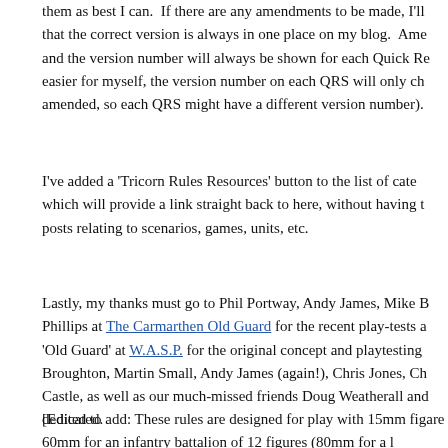them as best I can.  If there are any amendments to be made, I'll ensure that the correct version is always in one place on my blog.  Amendments and the version number will always be shown for each Quick Reference.  (To make it easier for myself, the version number on each QRS will only change when it is amended, so each QRS might have a different version number).
I've added a 'Tricorn Rules Resources' button to the list of categories, which will provide a link straight back to here, without having to search through posts relating to scenarios, games, units, etc.
Lastly, my thanks must go to Phil Portway, Andy James, Mike B… and Phillips at The Carmarthen Old Guard for the recent play-tests and 'Old Guard' at W.A.S.P. for the original concept and playtesting with Broughton, Martin Small, Andy James (again!), Chris Jones, Ch… Castle, as well as our much-missed friends Doug Weatherall and… dedicated.
[Edited to add: These rules are designed for play with 15mm figures… are 60mm for an infantry battalion of 12 figures (80mm for a l…